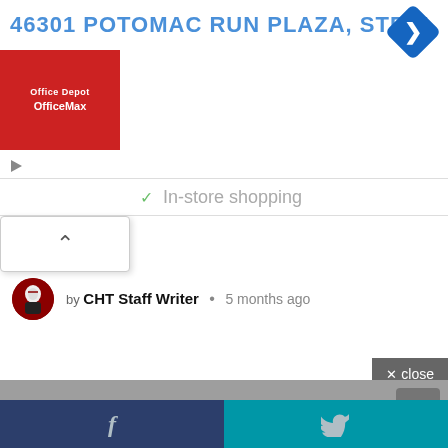46301 POTOMAC RUN PLAZA, STERL
[Figure (screenshot): Office Depot OfficeMax logo red square]
[Figure (screenshot): Blue navigation diamond turn arrow icon]
In-store shopping
[Figure (screenshot): Dropdown panel with chevron up arrow]
by CHT Staff Writer • 5 months ago
[Figure (screenshot): Close button with X close label]
[Figure (screenshot): Scroll to top arrow button]
[Figure (screenshot): Social media footer bar with Facebook and Twitter icons]